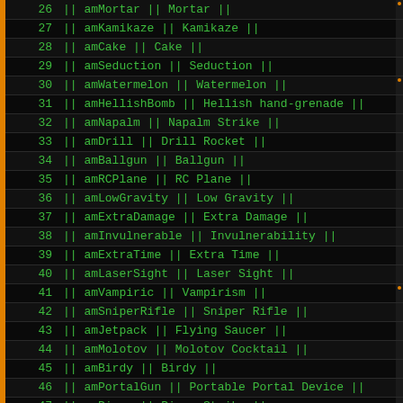|  | num | code |
| --- | --- | --- |
|  | 26 | || amMortar || Mortar || |
|  | 27 | || amKamikaze || Kamikaze || |
|  | 28 | || amCake || Cake || |
|  | 29 | || amSeduction || Seduction || |
|  | 30 | || amWatermelon || Watermelon || |
|  | 31 | || amHellishBomb || Hellish hand-grenade || |
|  | 32 | || amNapalm || Napalm Strike || |
|  | 33 | || amDrill || Drill Rocket || |
|  | 34 | || amBallgun || Ballgun || |
|  | 35 | || amRCPlane || RC Plane || |
|  | 36 | || amLowGravity || Low Gravity || |
|  | 37 | || amExtraDamage || Extra Damage || |
|  | 38 | || amInvulnerable || Invulnerability || |
|  | 39 | || amExtraTime || Extra Time || |
|  | 40 | || amLaserSight || Laser Sight || |
|  | 41 | || amVampiric || Vampirism || |
|  | 42 | || amSniperRifle || Sniper Rifle || |
|  | 43 | || amJetpack || Flying Saucer || |
|  | 44 | || amMolotov || Molotov Cocktail || |
|  | 45 | || amBirdy || Birdy || |
|  | 46 | || amPortalGun || Portable Portal Device || |
|  | 47 | || amPiano || Piano Strike || |